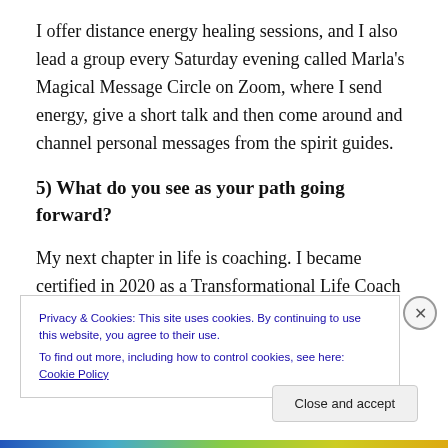I offer distance energy healing sessions, and I also lead a group every Saturday evening called Marla's Magical Message Circle on Zoom, where I send energy, give a short talk and then come around and channel personal messages from the spirit guides.
5) What do you see as your path going forward?
My next chapter in life is coaching. I became certified in 2020 as a Transformational Life Coach for women specializing in boundaries. I will also continue with my psychic and channeling work to bring messages through
Privacy & Cookies: This site uses cookies. By continuing to use this website, you agree to their use.
To find out more, including how to control cookies, see here: Cookie Policy